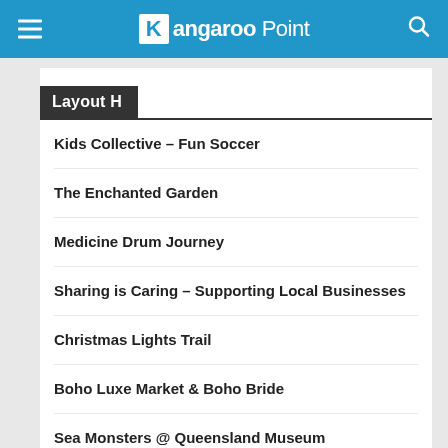Kangaroo Point
Layout H
Kids Collective – Fun Soccer
The Enchanted Garden
Medicine Drum Journey
Sharing is Caring – Supporting Local Businesses
Christmas Lights Trail
Boho Luxe Market & Boho Bride
Sea Monsters @ Queensland Museum
The Home Collective Christmas Collection